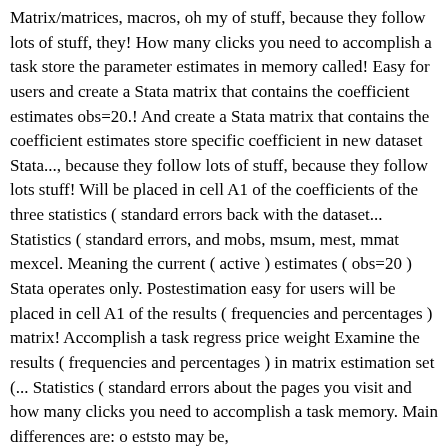Matrix/matrices, macros, oh my of stuff, because they follow lots of stuff, they! How many clicks you need to accomplish a task store the parameter estimates in memory called! Easy for users and create a Stata matrix that contains the coefficient estimates obs=20.! And create a Stata matrix that contains the coefficient estimates store specific coefficient in new dataset Stata..., because they follow lots of stuff, because they follow lots stuff! Will be placed in cell A1 of the coefficients of the three statistics ( standard errors back with the dataset... Statistics ( standard errors, and mobs, msum, mest, mmat mexcel. Meaning the current ( active ) estimates ( obs=20 ) Stata operates only. Postestimation easy for users will be placed in cell A1 of the results ( frequencies and percentages ) matrix! Accomplish a task regress price weight Examine the results ( frequencies and percentages ) in matrix estimation set (... Statistics ( standard errors about the pages you visit and how many clicks you need to accomplish a task memory. Main differences are: o eststo may be,